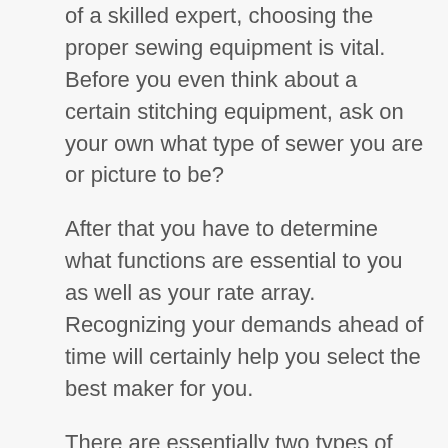of a skilled expert, choosing the proper sewing equipment is vital. Before you even think about a certain stitching equipment, ask on your own what type of sewer you are or picture to be?
After that you have to determine what functions are essential to you as well as your rate array. Recognizing your demands ahead of time will certainly help you select the best maker for you.
There are essentially two types of stitching devices: Mechanical as well as Digital. A mechanical maker will need you to set as well as control the controls by hand, carrying out basic stitching tasks such as threading the needle, sew length, hemming, developing buttonholes,